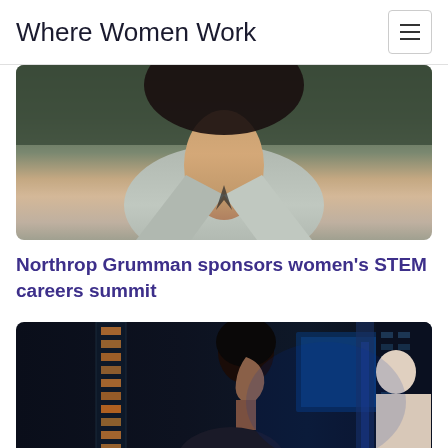Where Women Work
[Figure (photo): Portrait photo of a woman in a grey blazer, cropped at shoulders and neck, dark background]
Northrop Grumman sponsors women's STEM careers summit
[Figure (photo): Photo of a woman in a technology/data center environment with blue lighting and server equipment, with another person partially visible]